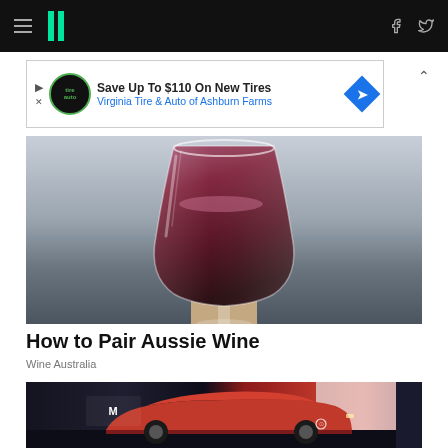HuffPost navigation bar with hamburger menu, logo, Facebook and Twitter icons
[Figure (screenshot): Advertisement banner: Save Up To $110 On New Tires - Virginia Tire & Auto of Ashburn Farms]
[Figure (photo): A hand holding a wine glass filled with red wine against a light background]
How to Pair Aussie Wine
Wine Australia
[Figure (photo): A red SUV (Toyota RAV4) displayed at what appears to be an auto show]